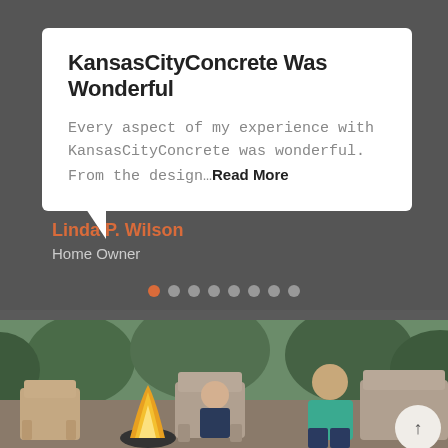KansasCityConcrete Was Wonderful
Every aspect of my experience with KansasCityConcrete was wonderful. From the design…Read More
Linda P. Wilson
Home Owner
[Figure (photo): A man and a young boy sitting in outdoor wooden Adirondack chairs around a campfire, with trees in the background. A bright fire is visible in the foreground.]